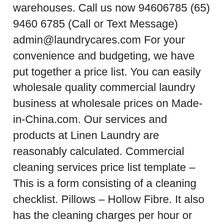warehouses. Call us now 94606785 (65) 9460 6785 (Call or Text Message) admin@laundrycares.com For your convenience and budgeting, we have put together a price list. You can easily wholesale quality commercial laundry business at wholesale prices on Made-in-China.com. Our services and products at Linen Laundry are reasonably calculated. Commercial cleaning services price list template – This is a form consisting of a cleaning checklist. Pillows – Hollow Fibre. It also has the cleaning charges per hour or per square feet. Pillow – feather only £6.55. Get contact details & address of companies manufacturing and supplying Commercial Washing Machine